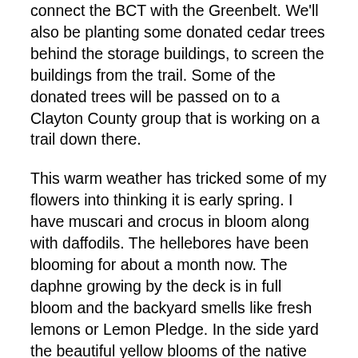connect the BCT with the Greenbelt.  We'll also be planting some donated cedar trees behind the storage buildings, to screen the buildings from the trail.  Some of the donated trees will be passed on to a Clayton County group that is working on a trail down there.
This warm weather has tricked some of my flowers into thinking it is early spring.  I have muscari and crocus in bloom along with daffodils.  The hellebores have been blooming for about a month now.  The daphne growing by the deck is in full bloom and the backyard smells like fresh lemons or Lemon Pledge.  In the side yard the beautiful yellow blooms of the native green and gold have  started peeking out.  In the front yard there is edgeworthia is in full bloom.  The smell is something I can't put my finger on, but if I could bottle it, I'd make a million dollars.  The sweet scented 'Fragrant Bouquet' viburnum is in full bloom along with the winter honeysuckle.  It has a sweet smell you can catch all over the front yard.  Scott's camellias are beginning to open their buds and they